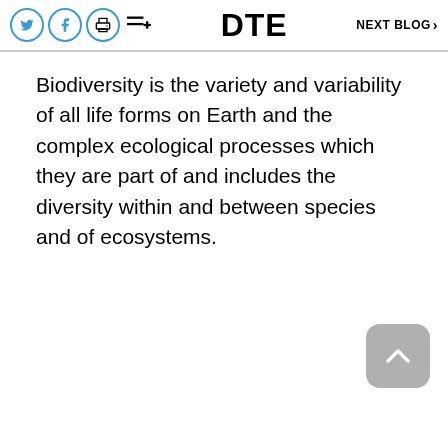DTE   NEXT BLOG >
Biodiversity is the variety and variability of all life forms on Earth and the complex ecological processes which they are part of and includes the diversity within and between species and of ecosystems.